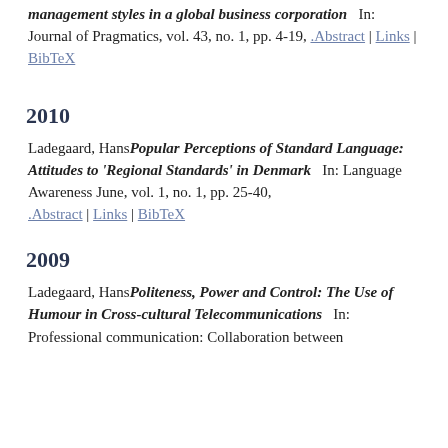management styles in a global business corporation   In: Journal of Pragmatics, vol. 43, no. 1, pp. 4-19, .Abstract | Links | BibTeX
2010
Ladegaard, Hans Popular Perceptions of Standard Language: Attitudes to 'Regional Standards' in Denmark   In: Language Awareness June, vol. 1, no. 1, pp. 25-40, .Abstract | Links | BibTeX
2009
Ladegaard, Hans Politeness, Power and Control: The Use of Humour in Cross-cultural Telecommunications   In: Professional communication: Collaboration between